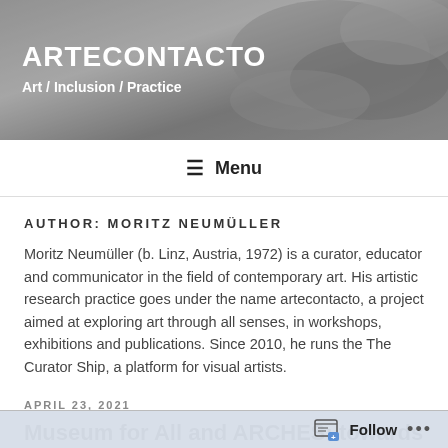[Figure (photo): Grayscale header photo showing hands, with ARTECONTACTO website title and subtitle overlaid in white text]
≡  Menu
AUTHOR: MORITZ NEUMÜLLER
Moritz Neumüller (b. Linz, Austria, 1972) is a curator, educator and communicator in the field of contemporary art. His artistic research practice goes under the name artecontacto, a project aimed at exploring art through all senses, in workshops, exhibitions and publications. Since 2010, he runs the The Curator Ship, a platform for visual artists.
APRIL 23, 2021
Museum for All and ARCHES: towards
Follow ...